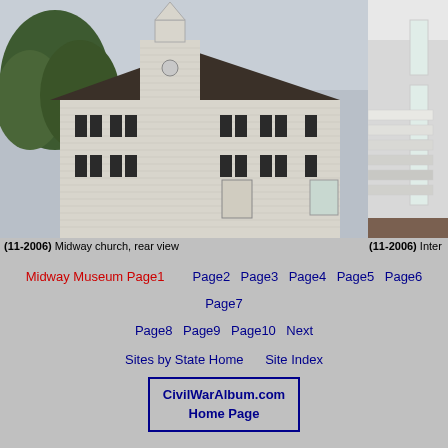[Figure (photo): Exterior rear view of Midway Church, a white colonial-style church building with a white steeple/tower, dark shutters, and horizontal siding. Trees visible in background, overcast sky.]
[Figure (photo): Interior view of Midway Church showing white walls, windows, and stepped/tiered white wooden pews or gallery seating.]
(11-2006) Midway church, rear view
(11-2006) Inter
Midway Museum Page1   Page2   Page3   Page4   Page5   Page6   Page7   Page8   Page9   Page10   Next
Sites by State Home      Site Index
CivilWarAlbum.com Home Page